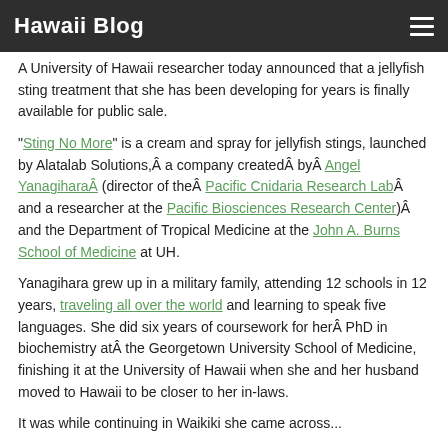Hawaii Blog
A University of Hawaii researcher today announced that a jellyfish sting treatment that she has been developing for years is finally available for public sale.
"Sting No More" is a cream and spray for jellyfish stings, launched by Alatalab Solutions, a company created by Angel Yanagihara (director of the Pacific Cnidaria Research Lab and a researcher at the Pacific Biosciences Research Center) and the Department of Tropical Medicine at the John A. Burns School of Medicine at UH.
Yanagihara grew up in a military family, attending 12 schools in 12 years, traveling all over the world and learning to speak five languages. She did six years of coursework for her PhD in biochemistry at the Georgetown University School of Medicine, finishing it at the University of Hawaii when she and her husband moved to Hawaii to be closer to her in-laws.
It was while continuing in Waikiki she...